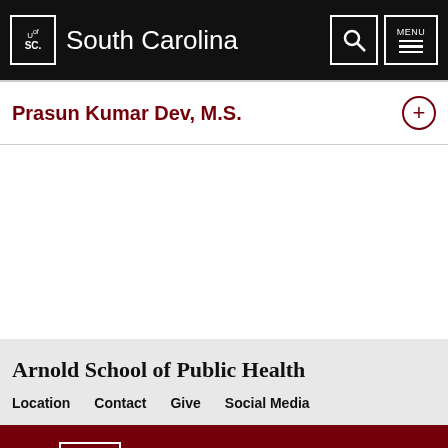South Carolina
Prasun Kumar Dev, M.S.
Arnold School of Public Health
Location  Contact  Give  Social Media
South Carolina